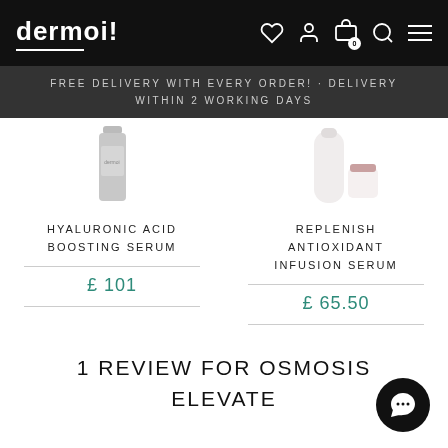dermoi!
FREE DELIVERY WITH EVERY ORDER! · DELIVERY WITHIN 2 WORKING DAYS
[Figure (photo): Hyaluronic Acid Boosting Serum product image - silver/grey cylindrical bottle]
HYALURONIC ACID BOOSTING SERUM
£ 101
[Figure (photo): Replenish Antioxidant Infusion Serum product image - white bottles]
REPLENISH ANTIOXIDANT INFUSION SERUM
£ 65.50
1 REVIEW FOR OSMOSIS ELEVATE